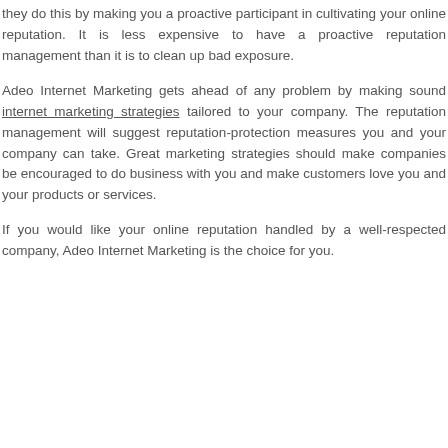they do this by making you a proactive participant in cultivating your online reputation. It is less expensive to have a proactive reputation management than it is to clean up bad exposure.
Adeo Internet Marketing gets ahead of any problem by making sound internet marketing strategies tailored to your company. The reputation management will suggest reputation-protection measures you and your company can take. Great marketing strategies should make companies be encouraged to do business with you and make customers love you and your products or services.
If you would like your online reputation handled by a well-respected company, Adeo Internet Marketing is the choice for you.